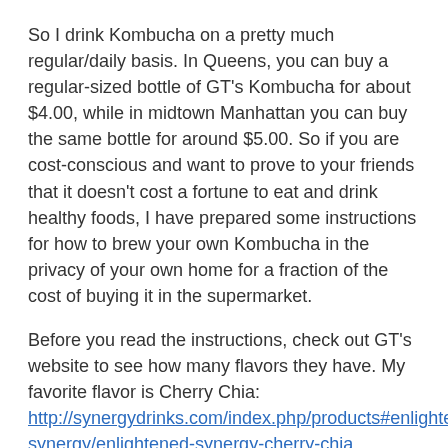So I drink Kombucha on a pretty much regular/daily basis. In Queens, you can buy a regular-sized bottle of GT's Kombucha for about $4.00, while in midtown Manhattan you can buy the same bottle for around $5.00. So if you are cost-conscious and want to prove to your friends that it doesn't cost a fortune to eat and drink healthy foods, I have prepared some instructions for how to brew your own Kombucha in the privacy of your own home for a fraction of the cost of buying it in the supermarket.
Before you read the instructions, check out GT's website to see how many flavors they have. My favorite flavor is Cherry Chia: http://synergydrinks.com/index.php/products#enlightened-synergy/enlightened-synergy-cherry-chia. Eventually you will be so good at brewing Kombucha that you too will start to flavor your own homemade brew as well.